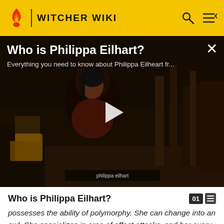WITCHER WIKI
[Figure (screenshot): Video thumbnail showing Philippa Eilhart character from The Witcher game with play button overlay. Title reads 'Who is Philippa Eilhart?' with subtitle 'Everything you need to know about Philippa Eilheart fr...']
Who is Philippa Eilhart?
possesses the ability of polymorphy. She can change into an owl. She specializes in area of effect attacks, and her every spell can target multiple enemies. Her passive skill makes her stronger with every kill.